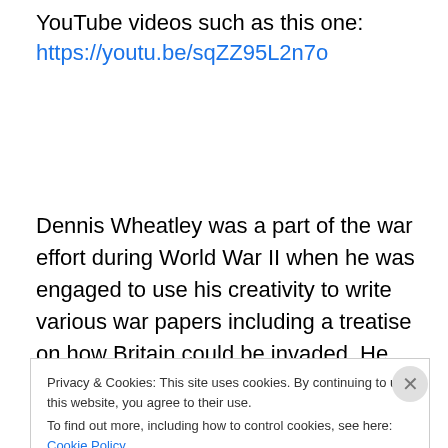YouTube videos such as this one: https://youtu.be/sqZZ95L2n7o
Dennis Wheatley was a part of the war effort during World War II when he was engaged to use his creativity to write various war papers including a treatise on how Britain could be invaded. He was a member of the London Controlling Section which worked on secret coordinated
Privacy & Cookies: This site uses cookies. By continuing to use this website, you agree to their use.
To find out more, including how to control cookies, see here: Cookie Policy
Close and accept